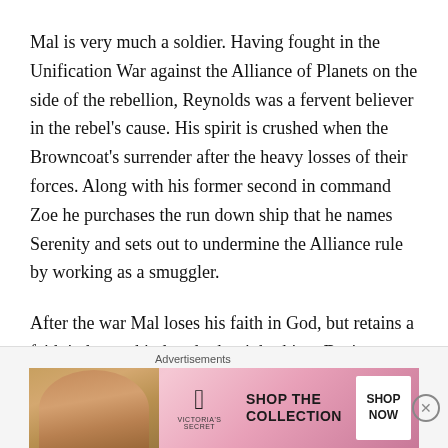Mal is very much a soldier. Having fought in the Unification War against the Alliance of Planets on the side of the rebellion, Reynolds was a fervent believer in the rebel's cause. His spirit is crushed when the Browncoat's surrender after the heavy losses of their forces. Along with his former second in command Zoe he purchases the run down ship that he names Serenity and sets out to undermine the Alliance rule by working as a smuggler.
After the war Mal loses his faith in God, but retains a faith in humankind to do the right thing. During flashbacks to the war at the beginning of the series Mal is seen as a larger than life, fun-loving character and like his faith he
[Figure (other): Victoria's Secret advertisement banner with a model with curly hair, VS logo, text 'SHOP THE COLLECTION' and 'SHOP NOW' button on a pink gradient background. Labeled 'Advertisements' above.]